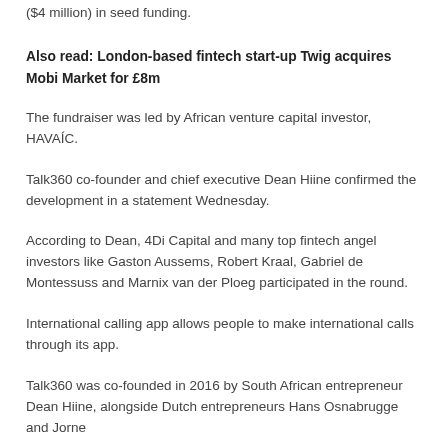($4 million) in seed funding.
Also read: London-based fintech start-up Twig acquires Mobi Market for £8m
The fundraiser was led by African venture capital investor, HAVAÍC.
Talk360 co-founder and chief executive Dean Hiine confirmed the development in a statement Wednesday.
According to Dean, 4Di Capital and many top fintech angel investors like Gaston Aussems, Robert Kraal, Gabriel de Montessuss and Marnix van der Ploeg participated in the round.
International calling app allows people to make international calls through its app.
Talk360 was co-founded in 2016 by South African entrepreneur Dean Hiine, alongside Dutch entrepreneurs Hans Osnabrugge and Jorne